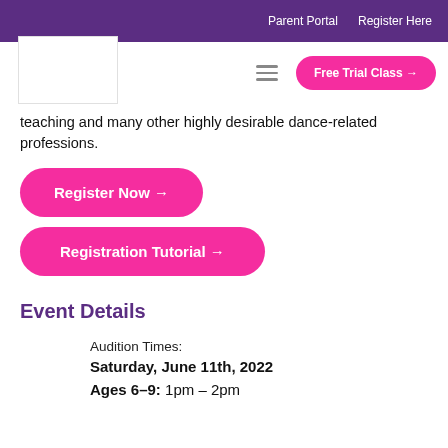Parent Portal   Register Here
teaching and many other highly desirable dance-related professions.
Register Now →
Registration Tutorial →
Event Details
Audition Times:
Saturday, June 11th, 2022
Ages 6–9: 1pm – 2pm